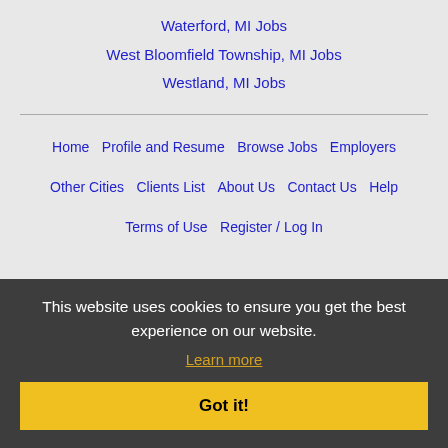Waterford, MI Jobs
West Bloomfield Township, MI Jobs
Westland, MI Jobs
Home  Profile and Resume  Browse Jobs  Employers  Other Cities  Clients List  About Us  Contact Us  Help  Terms of Use  Register / Log In
Copyright © 2001 - 2022 Recruiter Media Corporation - Toledo Jobs
This website uses cookies to ensure you get the best experience on our website.
Learn more
Got it!